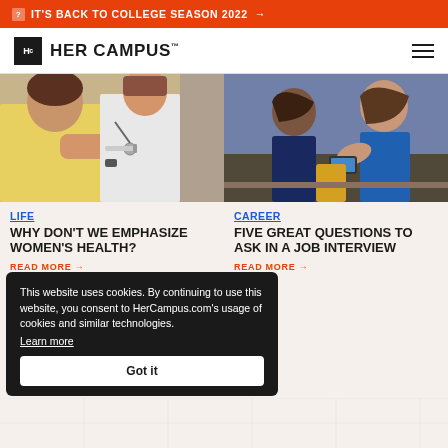IT'S BACK TO COLLEGE SEASON 2022 →
[Figure (logo): Her Campus logo with Hc icon and wordmark]
[Figure (photo): Woman in yellow top receiving injection from doctor]
LIFE
WHY DON'T WE EMPHASIZE WOMEN'S HEALTH?
READ MORE →
[Figure (photo): Two women talking in an office/meeting setting]
CAREER
FIVE GREAT QUESTIONS TO ASK IN A JOB INTERVIEW
READ MORE →
This website uses cookies. By continuing to use this website, you consent to HerCampus.com's usage of cookies and similar technologies. Learn more Got it